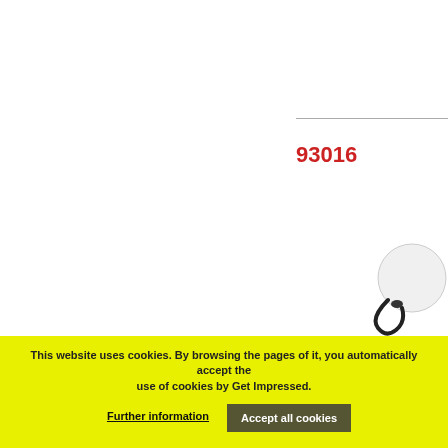93016
[Figure (photo): White round poncho keychain with black wrist strap]
Robat - Poncho keychain f...
[Figure (other): Color swatches: white, navy blue, yellow, red]
93040
This website uses cookies. By browsing the pages of it, you automatically accept the use of cookies by Get Impressed.
Further information
Accept all cookies